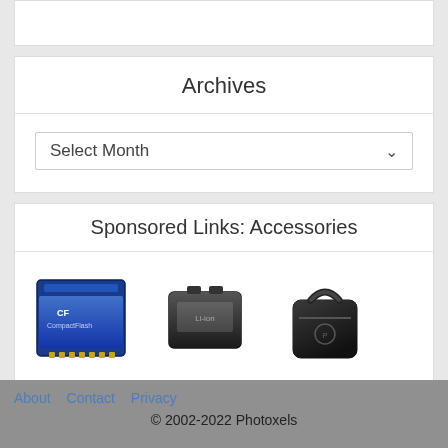Archives
Select Month
Sponsored Links: Accessories
[Figure (photo): Three camera accessory product images: a compact flash memory card (blue), a camera battery (dark), and a small camera bag (black)]
About   Contact   Privacy
© 2002-2022 Photoxels